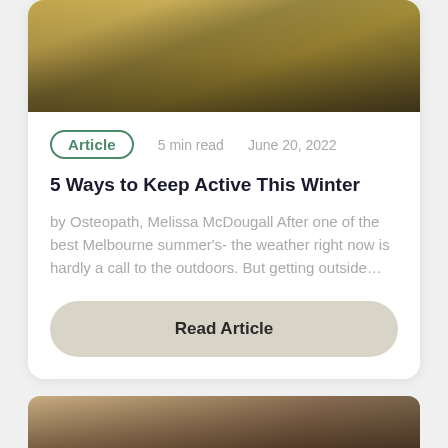[Figure (photo): Outdoor nature scene with golden grass field, two people walking, photographed from below showing legs and boots]
Article   5 min read   June 20, 2022
5 Ways to Keep Active This Winter
by Osteopath, Melissa McDougall After one of the best Melbourne summer's- the weather right now is hardly a call to the outdoors. But getting outside…
Read Article
[Figure (photo): Partial view of another article card image at the bottom of the page]